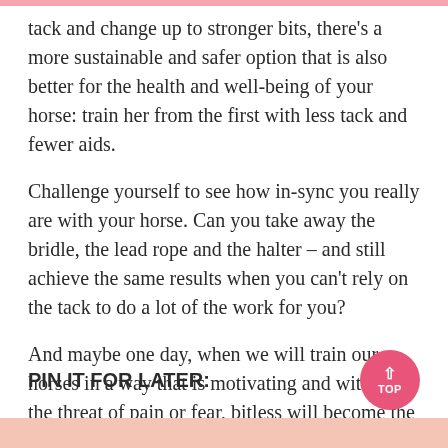tack and change up to stronger bits, there's a more sustainable and safer option that is also better for the health and well-being of your horse: train her from the first with less tack and fewer aids.
Challenge yourself to see how in-sync you really are with your horse. Can you take away the bridle, the lead rope and the halter – and still achieve the same results when you can't rely on the tack to do a lot of the work for you?
And maybe one day, when we will train our horses in a way that is motivating and without the threat of pain or fear, bitless will become the new normal.
PIN IT FOR LATER: